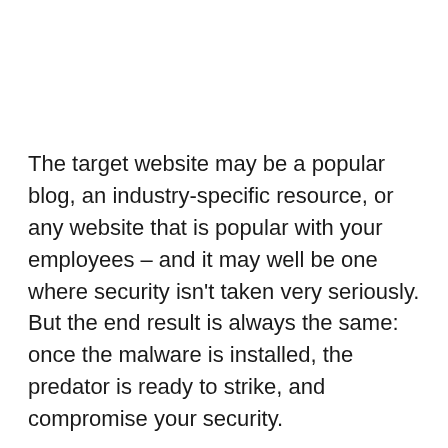The target website may be a popular blog, an industry-specific resource, or any website that is popular with your employees – and it may well be one where security isn't taken very seriously. But the end result is always the same: once the malware is installed, the predator is ready to strike, and compromise your security.
Since the Covid Pandemic and the sharp rise in the numbers of staff working from home, the watering hole has taken on a new significance. Standard on-site network protection measures often don't work as well